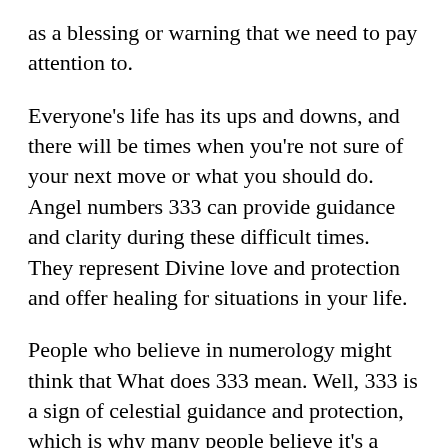as a blessing or warning that we need to pay attention to.
Everyone's life has its ups and downs, and there will be times when you're not sure of your next move or what you should do. Angel numbers 333 can provide guidance and clarity during these difficult times. They represent Divine love and protection and offer healing for situations in your life.
People who believe in numerology might think that What does 333 mean. Well, 333 is a sign of celestial guidance and protection, which is why many people believe it's a good sign to see this number in their dreams or think of it when making decisions. Some individuals even add three extra 3s to their phone numbers to ensure